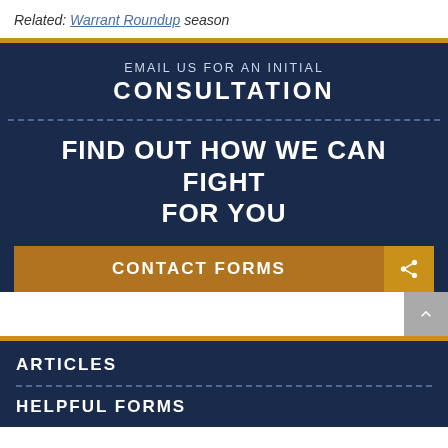Related: Warrant Roundup season
[Figure (infographic): Dark navy banner with gold top border. Top section reads 'EMAIL US FOR AN INITIAL CONSULTATION'. Dotted line separator. Large bold text: 'FIND OUT HOW WE CAN FIGHT FOR YOU'. Gold 'CONTACT FORMS' button with arrow icon.]
[Figure (infographic): Dark navy section with gold top border at bottom of page. Contains 'ARTICLES' heading, dotted line, and 'HELPFUL FORMS' heading.]